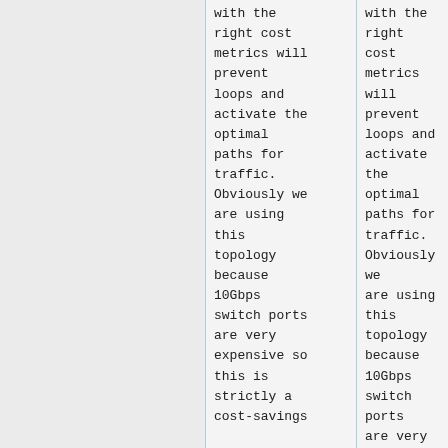with the right cost metrics will prevent loops and activate the optimal paths for traffic. Obviously we are using this topology because 10Gbps switch ports are very expensive so this is strictly a cost-savings
with the right cost metrics will prevent loops and activate the optimal paths for traffic. Obviously we are using this topology because 10Gbps switch ports are very expensive so this is strictly a cost-savings